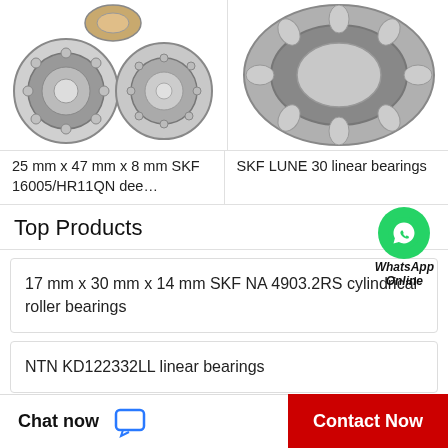[Figure (photo): Two product images side by side: left shows two small SKF cylindrical/tapered roller bearings; right shows a large SKF LUNE 30 spherical bearing]
25 mm x 47 mm x 8 mm SKF 16005/HR11QN dee…
SKF LUNE 30 linear bearings
Top Products
17 mm x 30 mm x 14 mm SKF NA 4903.2RS cylindrical roller bearings
NTN KD122332LL linear bearings
100 mm x 140 mm x 24 mm NSK 100BNR29XV1V
Chat now   Contact Now